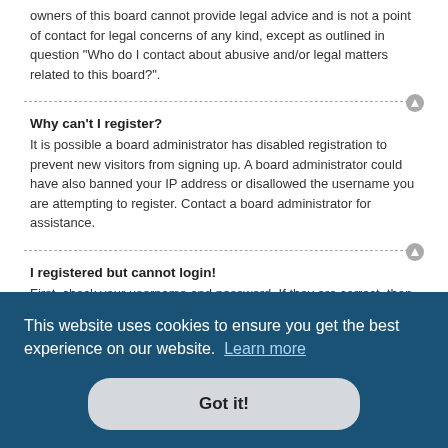owners of this board cannot provide legal advice and is not a point of contact for legal concerns of any kind, except as outlined in question “Who do I contact about abusive and/or legal matters related to this board?”.
Why can’t I register?
It is possible a board administrator has disabled registration to prevent new visitors from signing up. A board administrator could have also banned your IP address or disallowed the username you are attempting to register. Contact a board administrator for assistance.
I registered but cannot login!
First, check your username and password. If they are correct, then one of two things may have happened. If COPPA support is enabled and you specified being under 13 years old during registration, you will have to follow the instructions you received. Some boards will also require new registrations to be activated, either by yourself or by an administrator … en. If … e an … ail may … ess you
There are several reasons why this could occur. First, ensure your username and password are correct. If they are, contact a board …
This website uses cookies to ensure you get the best experience on our website. Learn more
Got it!